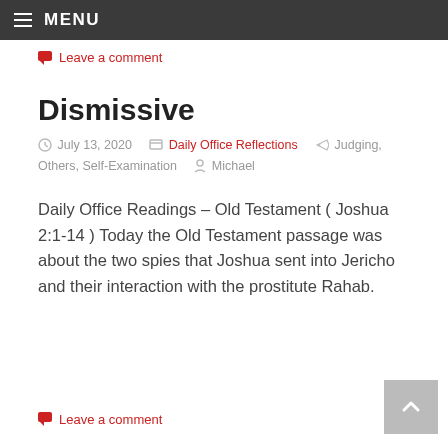MENU
Leave a comment
Dismissive
July 13, 2020   Daily Office Reflections   Judging, Others, Self-Examination   Michael
Daily Office Readings – Old Testament ( Joshua 2:1-14 ) Today the Old Testament passage was about the two spies that Joshua sent into Jericho and their interaction with the prostitute Rahab.
Leave a comment